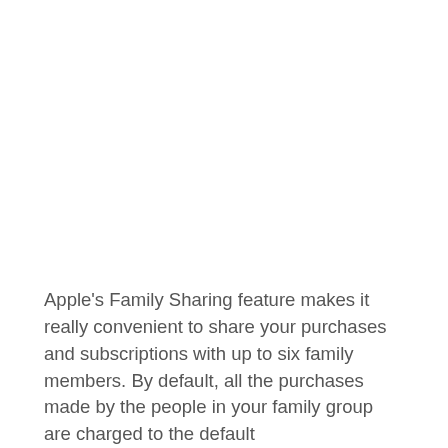Apple's Family Sharing feature makes it really convenient to share your purchases and subscriptions with up to six family members. By default, all the purchases made by the people in your family group are charged to the default